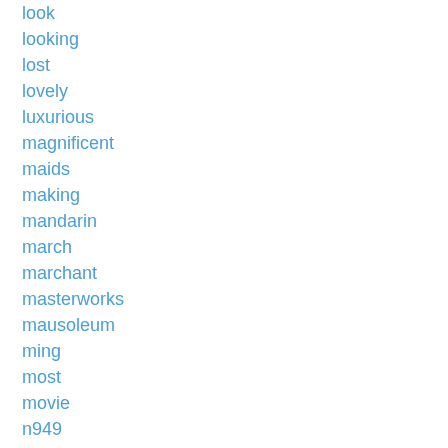look
looking
lost
lovely
luxurious
magnificent
maids
making
mandarin
march
marchant
masterworks
mausoleum
ming
most
movie
n949
national
nice
nicolas